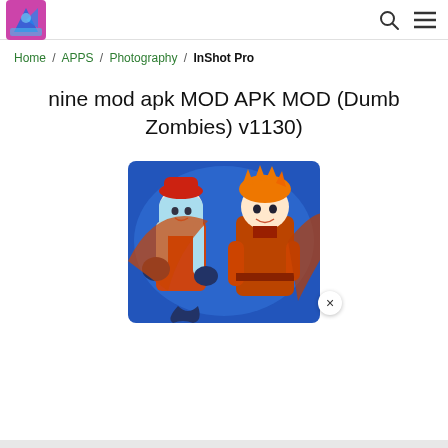Logo / Search / Menu
Home / APPS / Photography / InShot Pro
nine mod apk MOD APK MOD (Dumb Zombies) v1130)
[Figure (illustration): Anime-style illustration of two characters in orange/red outfits against a blue background]